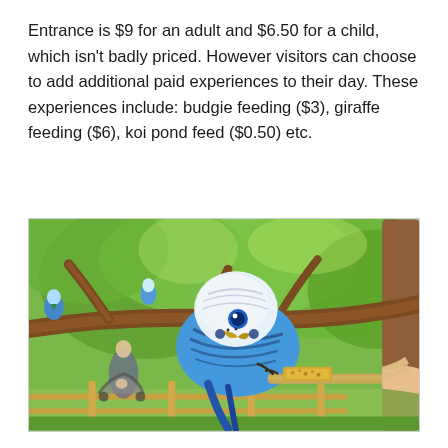Entrance is $9 for an adult and $6.50 for a child, which isn't badly priced. However visitors can choose to add additional paid experiences to their day. These experiences include: budgie feeding ($3), giraffe feeding ($6), koi pond feed ($0.50) etc.
[Figure (photo): A blue and white budgerigar (budgie) perched on a wooden stick being hand-fed seeds/millet. Multiple budgies visible in background on tree branches. Green leafy trees in background, wooden fence visible, person with stroller in background left.]